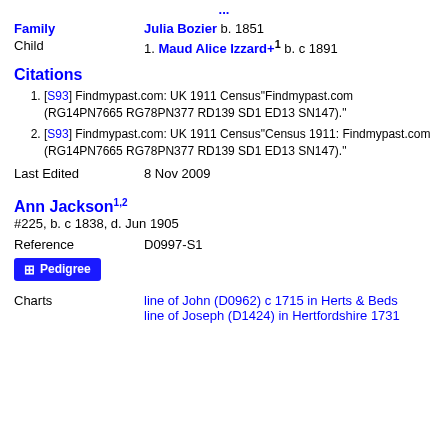Family   Julia Bozier b. 1851
Child   1. Maud Alice Izzard+ b. c 1891
Citations
1. [S93] Findmypast.com: UK 1911 Census"Findmypast.com (RG14PN7665 RG78PN377 RD139 SD1 ED13 SN147)."
2. [S93] Findmypast.com: UK 1911 Census"Census 1911: Findmypast.com (RG14PN7665 RG78PN377 RD139 SD1 ED13 SN147)."
Last Edited   8 Nov 2009
Ann Jackson
#225, b. c 1838, d. Jun 1905
Reference   D0997-S1
Pedigree
Charts   line of John (D0962) c 1715 in Herts & Beds
line of Joseph (D1424) in Hertfordshire 1731